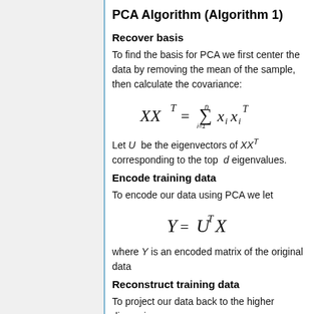PCA Algorithm (Algorithm 1)
Recover basis
To find the basis for PCA we first center the data by removing the mean of the sample, then calculate the covariance:
Let U be the eigenvectors of XX^T corresponding to the top d eigenvalues.
Encode training data
To encode our data using PCA we let
where Y is an encoded matrix of the original data
Reconstruct training data
To project our data back to the higher dimension